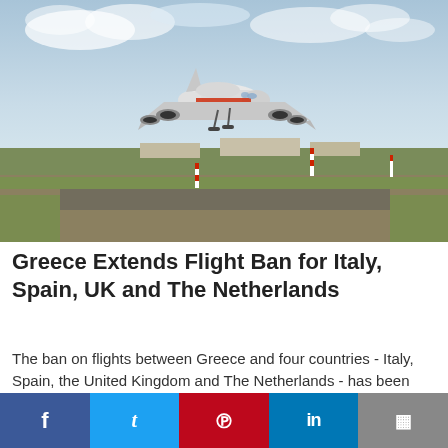[Figure (photo): Large passenger airplane (Airbus A380) approaching low over a runway with airport buildings and trees in background under cloudy sky]
Greece Extends Flight Ban for Italy, Spain, UK and The Netherlands
The ban on flights between Greece and four countries - Italy, Spain, the United Kingdom and The Netherlands - has been extended until June 14.